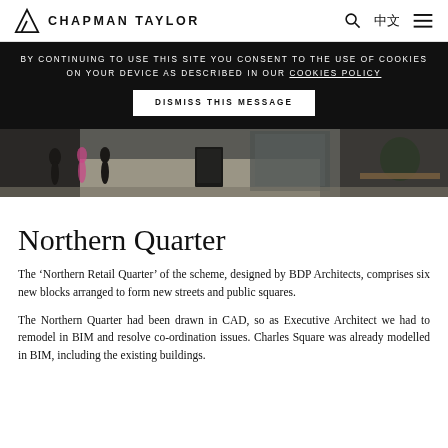CHAPMAN TAYLOR
BY CONTINUING TO USE THIS SITE YOU CONSENT TO THE USE OF COOKIES ON YOUR DEVICE AS DESCRIBED IN OUR COOKIES POLICY DISMISS THIS MESSAGE
[Figure (photo): Street-level photo of a shopping district with pedestrians walking along a paved area with storefronts, a chalkboard sign, and a tree in the foreground.]
Northern Quarter
The ‘Northern Retail Quarter’ of the scheme, designed by BDP Architects, comprises six new blocks arranged to form new streets and public squares.
The Northern Quarter had been drawn in CAD, so as Executive Architect we had to remodel in BIM and resolve co-ordination issues. Charles Square was already modelled in BIM, including the existing buildings.